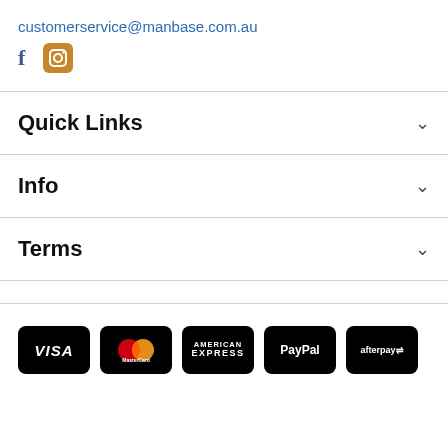customerservice@manbase.com.au
[Figure (other): Facebook and Instagram social media icons]
Quick Links
Info
Terms
[Figure (other): Payment method logos: VISA, MasterCard, American Express, PayPal, afterpay]